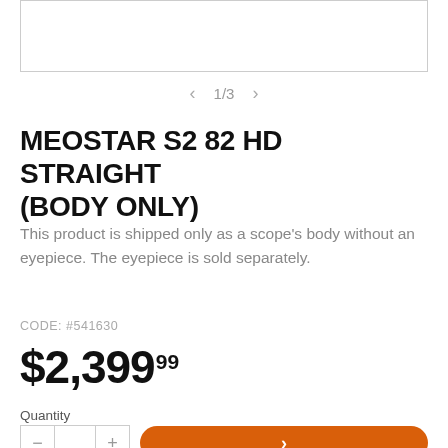[Figure (photo): Product image placeholder box (empty, white with gray border)]
< 1/3 >
MEOSTAR S2 82 HD STRAIGHT (BODY ONLY)
This product is shipped only as a scope's body without an eyepiece. The eyepiece is sold separately.
CODE: #541630
$2,39999
Quantity